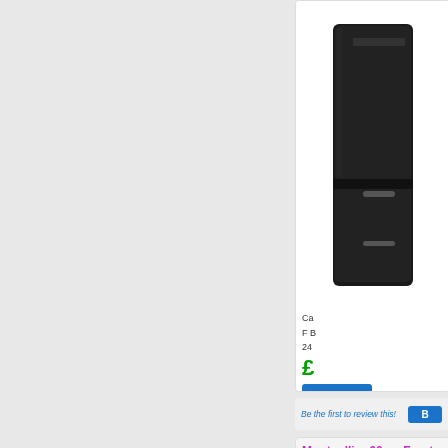[Figure (photo): Black retro-style fridge freezer (Montpellier) on white background]
Ca... F B... 24... £...
Be the first to review this!
Montpellier 60cm Frost Free Fridge Freezer - MAB38...
FREESTANDING FRIDGE FREEZER | MONTPEL
[Figure (photo): Cream/beige retro-style fridge freezer (Montpellier) on white background]
He... Ca... F B... 24... £...